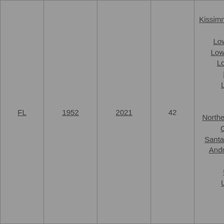| State | Year Est. | Year Updated | Count | Regions |
| --- | --- | --- | --- | --- |
| FL | 1952 | 2021 | 42 | Kissimmee; Lake Okeechobee; Little Manatee; Lower Chattahoochee; Lower Choctawhatchee; Lower Ochlockonee; Lower St. Johns; Lower Suwannee; Manatee; Myakka; Northern Okeechobee Inflow; Oklawaha; Peace; Santa Fe; Sarasota Bay; St. Andrew-St. Joseph Bays; Tampa Bay; Upper St. Johns; Upper Suwannee; Vero Beach; Waccasassa; |